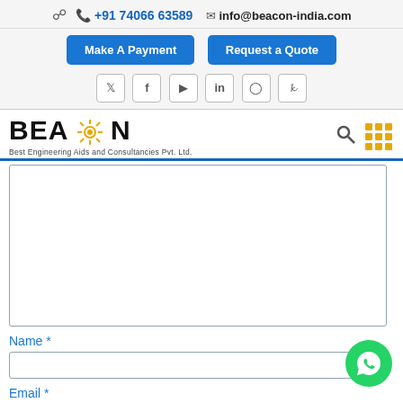☎ +91 74066 63589  ✉ info@beacon-india.com
Make A Payment | Request a Quote
[Figure (other): Social media icons row: Twitter, Facebook, YouTube, LinkedIn, Instagram, Pinterest]
[Figure (logo): Beacon logo with sun icon, text: BEACON, subtitle: Best Engineering Aids and Consultancies Pvt. Ltd.]
Message textarea (empty form field)
Name *
Email *